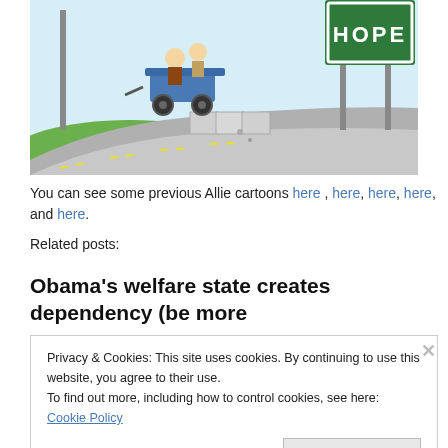[Figure (illustration): A political cartoon showing two figures riding in a wagon on a road, passing a green billboard sign that reads 'HOPE'. There are concrete barriers on the road. The scene has green grass and a light blue sky.]
You can see some previous Allie cartoons here , here, here, here, and here.
Related posts:
Obama’s welfare state creates dependency (be more
Privacy & Cookies: This site uses cookies. By continuing to use this website, you agree to their use.
To find out more, including how to control cookies, see here: Cookie Policy